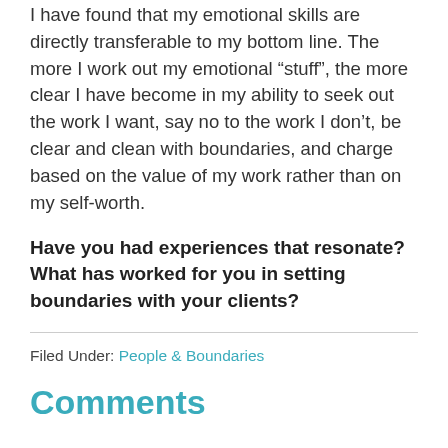I have found that my emotional skills are directly transferable to my bottom line. The more I work out my emotional “stuff”, the more clear I have become in my ability to seek out the work I want, say no to the work I don’t, be clear and clean with boundaries, and charge based on the value of my work rather than on my self-worth.
Have you had experiences that resonate? What has worked for you in setting boundaries with your clients?
Filed Under: People & Boundaries
Comments